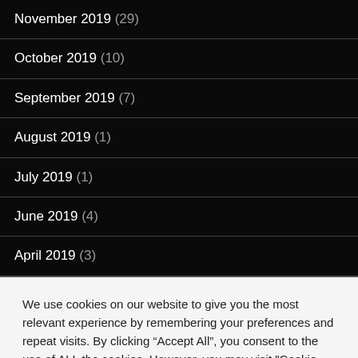November 2019 (29)
October 2019 (10)
September 2019 (7)
August 2019 (1)
July 2019 (1)
June 2019 (4)
April 2019 (3)
We use cookies on our website to give you the most relevant experience by remembering your preferences and repeat visits. By clicking “Accept All”, you consent to the use of ALL the cookies. However, you may visit "Cookie Settings" to provide a controlled consent.
Cookie Settings | Accept All